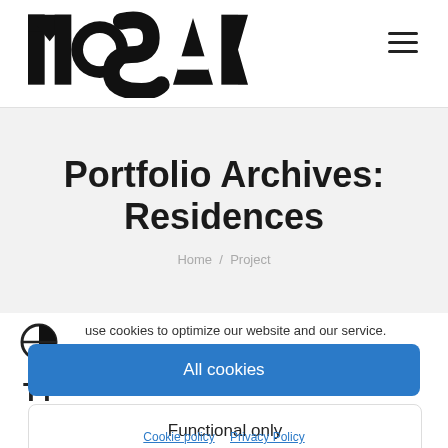MOSAK logo and navigation hamburger menu
Portfolio Archives: Residences
Home / Project
use cookies to optimize our website and our service.
All cookies
Functional only
Cookie policy   Privacy Policy